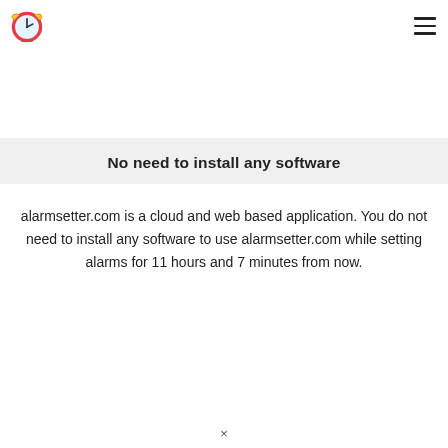alarmsetter.com logo and navigation menu
No need to install any software
alarmsetter.com is a cloud and web based application. You do not need to install any software to use alarmsetter.com while setting alarms for 11 hours and 7 minutes from now.
×